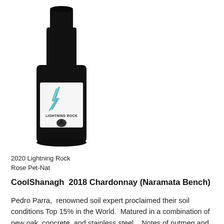[Figure (photo): Wine bottle with black glass and white label reading 'LIGHTNING ROCK' with a lightning bolt graphic in teal, and a small rock/mountain icon below the text.]
2020 Lightning Rock
Rose Pet-Nat
CoolShanagh  2018 Chardonnay (Naramata Bench)
Pedro Parra,  renowned soil expert proclaimed their soil conditions Top 15% in the World.  Matured in a combination of new oak, concrete, and stainless steel... Notes of nutmeg and caramel. Mighty texture and